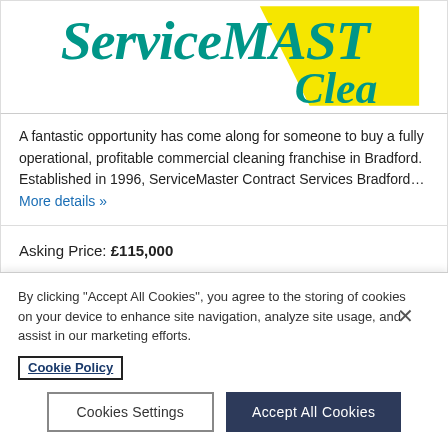[Figure (logo): ServiceMaster Clean logo — teal italic text 'ServiceMaster' with 'Clean' on a yellow diagonal banner, partially cropped]
A fantastic opportunity has come along for someone to buy a fully operational, profitable commercial cleaning franchise in Bradford. Established in 1996, ServiceMaster Contract Services Bradford… More details »
Asking Price: £115,000
Turnover: £410,000
By clicking "Accept All Cookies", you agree to the storing of cookies on your device to enhance site navigation, analyze site usage, and assist in our marketing efforts. Cookie Policy
Cookies Settings
Accept All Cookies